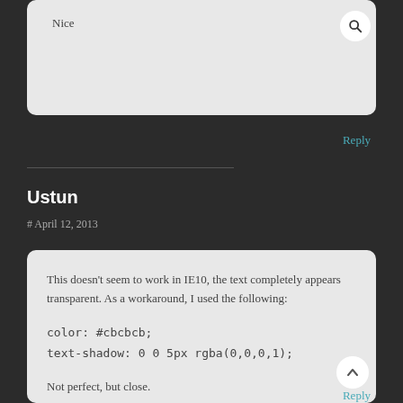Nice
Reply
Ustun
# April 12, 2013
This doesn't seem to work in IE10, the text completely appears transparent. As a workaround, I used the following:

color: #cbcbcb;
text-shadow: 0 0 5px rgba(0,0,0,1);

Not perfect, but close.
Reply